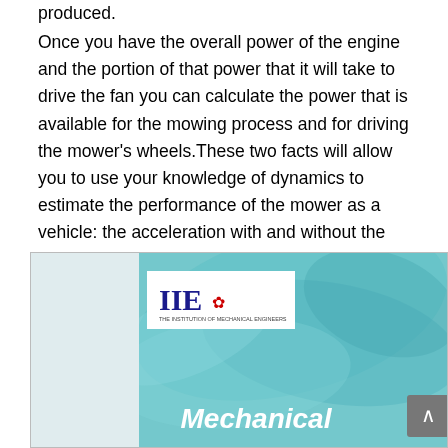produced. Once you have the overall power of the engine and the portion of that power that it will take to drive the fan you can calculate the power that is available for the mowing process and for driving the mower's wheels. These two facts will allow you to use your knowledge of dynamics to estimate the performance of the mower as a vehicle: the acceleration with and without the blades cutting, the maximum speed up an incline and the maximum driving speed.
[Figure (photo): Book cover image with IIE logo and the word 'Mechanical' on a teal/blue abstract background]